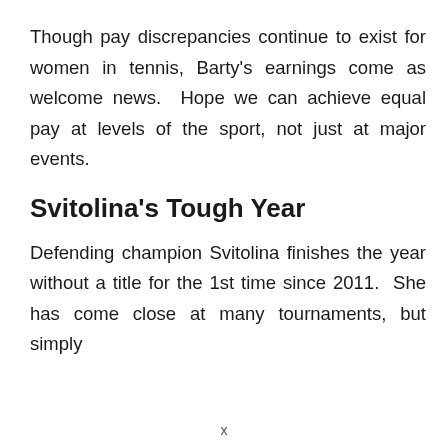Though pay discrepancies continue to exist for women in tennis, Barty's earnings come as welcome news.  Hope we can achieve equal pay at levels of the sport, not just at major events.
Svitolina's Tough Year
Defending champion Svitolina finishes the year without a title for the 1st time since 2011.  She has come close at many tournaments, but simply
x